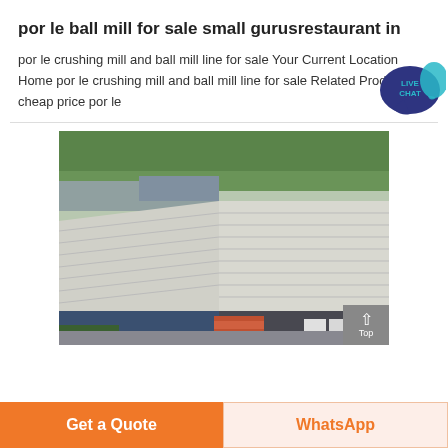por le ball mill for sale small gurusrestaurant in
por le crushing mill and ball mill line for sale Your Current Location Home por le crushing mill and ball mill line for sale Related Products cheap price por le
[Figure (photo): Aerial view of a large industrial facility or warehouse complex with metal roofing, surrounded by trees, with trucks and vehicles in the yard.]
Get a Quote
WhatsApp